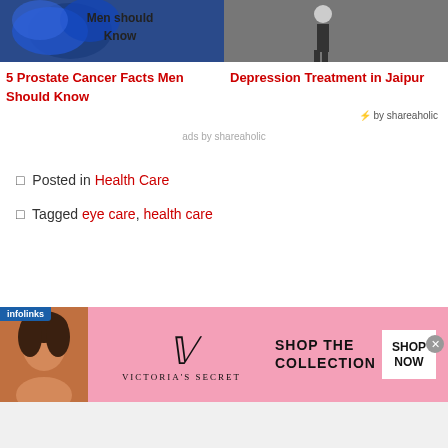[Figure (photo): Blue ribbon image with text 'Men should Know' on left; person in jeans sitting on right]
5 Prostate Cancer Facts Men Should Know
Depression Treatment in Jaipur
⚡ by shareaholic
ads by shareaholic
◻ Posted in Health Care
◻ Tagged eye care, health care
[Figure (photo): Victoria's Secret advertisement banner with model, VS logo, 'SHOP THE COLLECTION' text and 'SHOP NOW' button, with infolinks label]